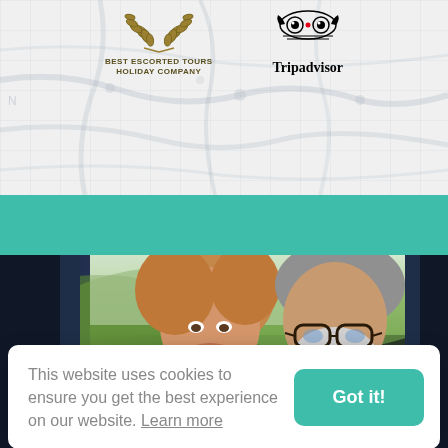[Figure (screenshot): Top section with light grey map background. Two award logos: 'Best Escorted Tours Holiday Company' with laurel wreath on left, and Tripadvisor owl logo on right. Below is a teal/green band, then a photo of a smiling woman and bearded man in glasses sitting in a convertible car with green countryside in background.]
This website uses cookies to ensure you get the best experience on our website. Learn more